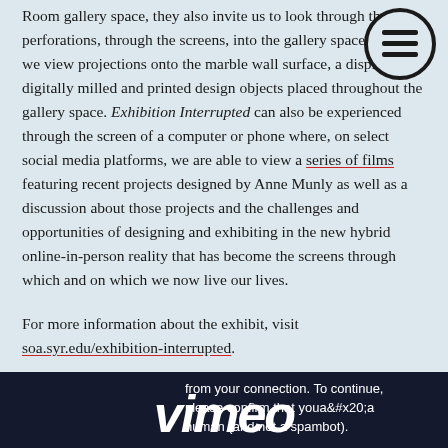Room gallery space, they also invite us to look through the perforations, through the screens, into the gallery space where we view projections onto the marble wall surfaces, a display of digitally milled and printed design objects placed throughout the gallery space. Exhibition Interrupted can also be experienced through the screen of a computer or phone where, on select social media platforms, we are able to view a series of films featuring recent projects designed by Anne Munly as well as a discussion about those projects and the challenges and opportunities of designing and exhibiting in the new hybrid online-in-person reality that has become the screens through which and on which we now live our lives.
[Figure (other): Circular menu icon with three horizontal lines (hamburger menu) in black outline circle]
For more information about the exhibit, visit soa.syr.edu/exhibition-interrupted.
[Figure (screenshot): Dark navy blue screenshot block showing Vimeo human verification message: 'from your connection. To continue, please confirm that youâ€™re a human (and not a spambot).' with Vimeo logo text at bottom]